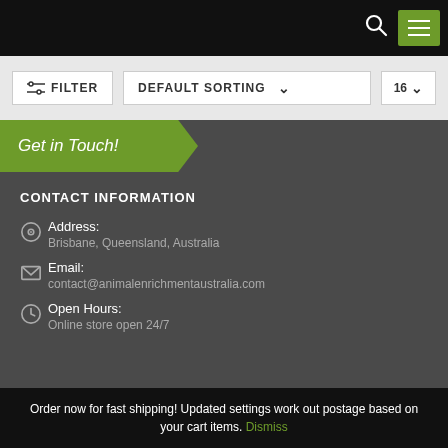Navigation bar with search and menu icons
FILTER | DEFAULT SORTING | 16
Get in Touch!
CONTACT INFORMATION
Address: Brisbane, Queensland, Australia
Email: contact@animalenrichmentaustralia.com
Open Hours: Online store open 24/7
Order now for fast shipping! Updated settings work out postage based on your cart items. Dismiss